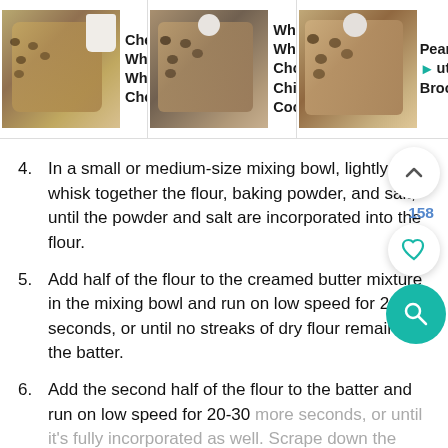[Figure (screenshot): Top banner with three recipe thumbnails: 'Chewy Whole Wheat Chocolate...', 'Whole Wheat Chocolate Chip Cookies', 'Peanut Butter Brookies...' each with a food photo]
4. In a small or medium-size mixing bowl, lightly whisk together the flour, baking powder, and salt, until the powder and salt are incorporated into the flour.
5. Add half of the flour to the creamed butter mixture in the mixing bowl and run on low speed for 20-30 seconds, or until no streaks of dry flour remain in the batter.
6. Add the second half of the flour to the batter and run on low speed for 20-30 more seconds, or until it's fully incorporated as well. Scrape down the